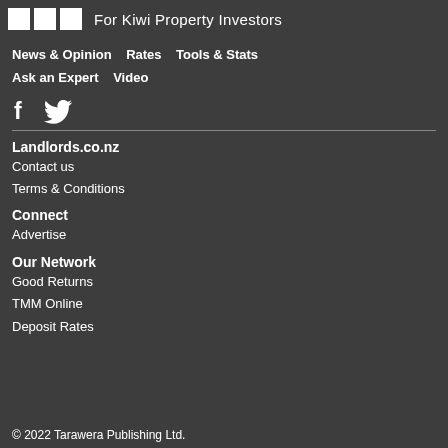For Kiwi Property Investors
News & Opinion   Rates   Tools & Stats   Ask an Expert   Video
[Figure (logo): Social media icons: Facebook (f) and Twitter (bird)]
Landlords.co.nz
Contact us
Terms & Conditions
Connect
Advertise
Our Network
Good Returns
TMM Online
Deposit Rates
© 2022 Tarawera Publishing Ltd.